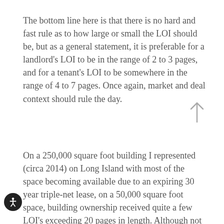The bottom line here is that there is no hard and fast rule as to how large or small the LOI should be, but as a general statement, it is preferable for a landlord's LOI to be in the range of 2 to 3 pages, and for a tenant's LOI to be somewhere in the range of 4 to 7 pages. Once again, market and deal context should rule the day.
On a 250,000 square foot building I represented (circa 2014) on Long Island with most of the space becoming available due to an expiring 30 year triple-net lease, on a 50,000 square foot space, building ownership received quite a few LOI's exceeding 20 pages in length. Although not all of the